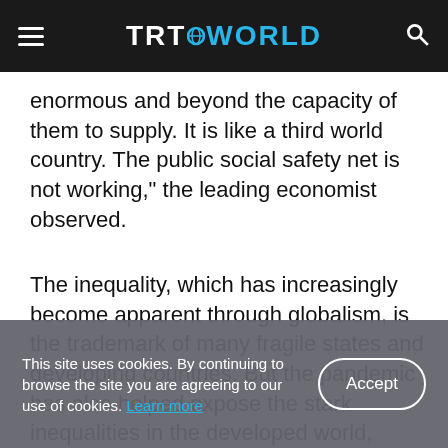TRT WORLD
enormous and beyond the capacity of them to supply. It is like a third world country. The public social safety net is not working," the leading economist observed.
The inequality, which has increasingly become apparent through globalism, is the trademark of many fragile states and developing countries. But the pandemic has also helped expose the stark inequalities in the developed world, particularly, in the US as black neighbourhoods and low-wage labourers suffer from the virus heavily.
This site uses cookies. By continuing to browse the site you are agreeing to our use of cookies. Learn more